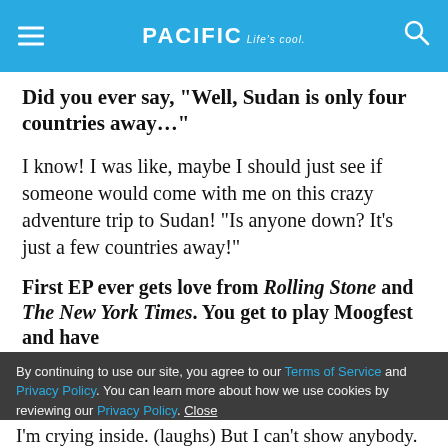PACIFIC Life's cool.
Did you ever say, “Well, Sudan is only four countries away…”
I know! I was like, maybe I should just see if someone would come with me on this crazy adventure trip to Sudan! “Is anyone down? It’s just a few countries away!”
First EP ever gets love from Rolling Stone and The New York Times. You get to play Moogfest and have
By continuing to use our site, you agree to our Terms of Service and Privacy Policy. You can learn more about how we use cookies by reviewing our Privacy Policy. Close
I’m crying inside. (laughs) But I can’t show anybody.